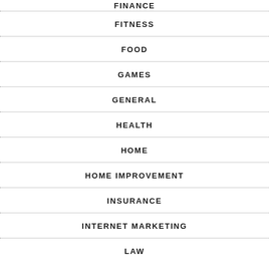FINANCE
FITNESS
FOOD
GAMES
GENERAL
HEALTH
HOME
HOME IMPROVEMENT
INSURANCE
INTERNET MARKETING
LAW